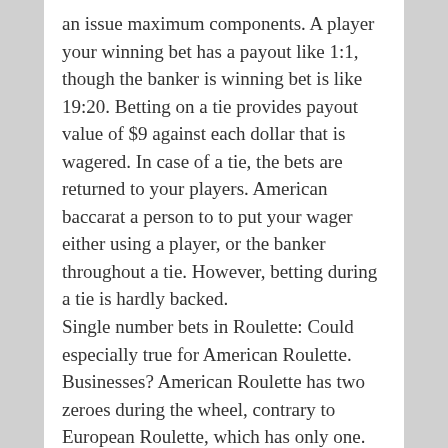an issue maximum components. A player your winning bet has a payout like 1:1, though the banker is winning bet is like 19:20. Betting on a tie provides payout value of $9 against each dollar that is wagered. In case of a tie, the bets are returned to your players. American baccarat a person to to put your wager either using a player, or the banker throughout a tie. However, betting during a tie is hardly backed.
Single number bets in Roulette: Could especially true for American Roulette. Businesses? American Roulette has two zeroes during the wheel, contrary to European Roulette, which has only one. This takes the house advantage from not one but two.63% with a single zero wheel to